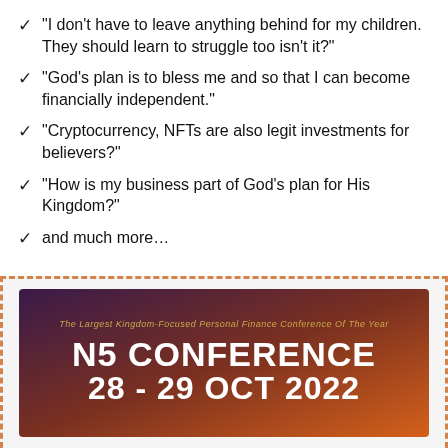“I don’t have to leave anything behind for my children. They should learn to struggle too isn’t it?”
“God’s plan is to bless me and so that I can become financially independent.”
"Cryptocurrency, NFTs are also legit investments for believers?"
"How is my business part of God’s plan for His Kingdom?"
and much more…
[Figure (infographic): Conference banner with dashed orange border. Shows 'The Largest Kingdom-Focused Personal Finance Conference Of The Year' subtitle in gold, 'N5 CONFERENCE' in large white bold text, and '28 - 29 OCT 2022' in large white bold text, on a dark purple-to-orange gradient background.]